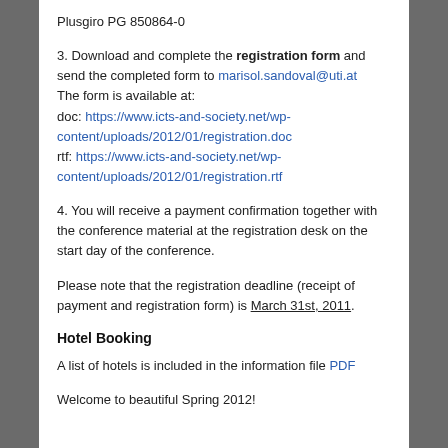Plusgiro PG 850864-0
3. Download and complete the registration form and send the completed form to marisol.sandoval@uti.at The form is available at:
doc: https://www.icts-and-society.net/wp-content/uploads/2012/01/registration.doc
rtf: https://www.icts-and-society.net/wp-content/uploads/2012/01/registration.rtf
4. You will receive a payment confirmation together with the conference material at the registration desk on the start day of the conference.
Please note that the registration deadline (receipt of payment and registration form) is March 31st, 2011.
Hotel Booking
A list of hotels is included in the information file PDF
Welcome to beautiful Spring 2012!